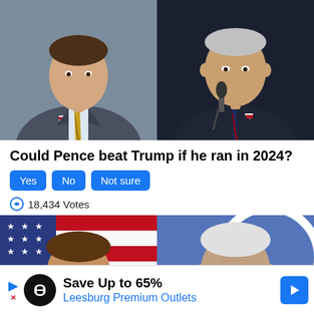[Figure (photo): Two side-by-side portrait photos: left shows a man in a suit with a gold striped tie and American flag pin, right shows an older man in a dark suit at a microphone with a striped tie.]
Could Pence beat Trump if he ran in 2024?
Yes  No  Not sure
18,434 Votes
[Figure (photo): Two side-by-side portrait photos: left shows a younger man smiling in front of an American flag, right shows an older man with white hair looking downward.]
Save Up to 65%
Leesburg Premium Outlets